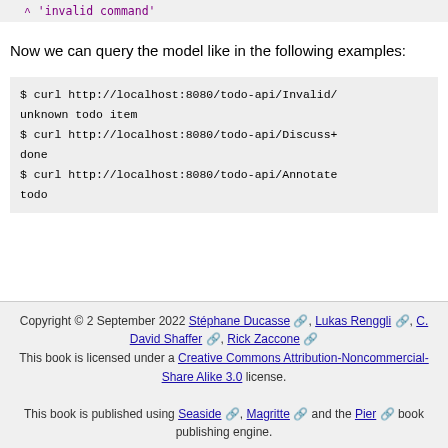^ 'invalid command'
Now we can query the model like in the following examples:
$ curl http://localhost:8080/todo-api/Invalid/
unknown todo item
$ curl http://localhost:8080/todo-api/Discuss+
done
$ curl http://localhost:8080/todo-api/Annotate
todo
Copyright © 2 September 2022 Stéphane Ducasse, Lukas Renggli, C. David Shaffer, Rick Zaccone
This book is licensed under a Creative Commons Attribution-Noncommercial-Share Alike 3.0 license.
This book is published using Seaside, Magritte and the Pier book publishing engine.